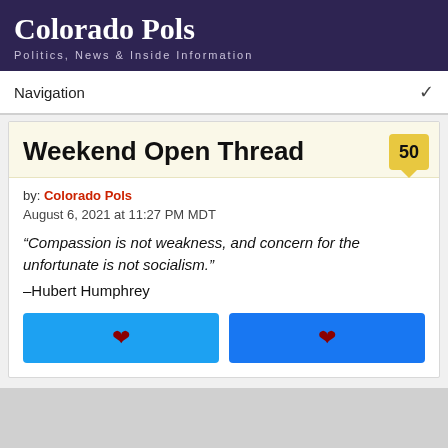Colorado Pols — Politics, News & Inside Information
Weekend Open Thread
by: Colorado Pols
August 6, 2021 at 11:27 PM MDT
“Compassion is not weakness, and concern for the unfortunate is not socialism.” –Hubert Humphrey